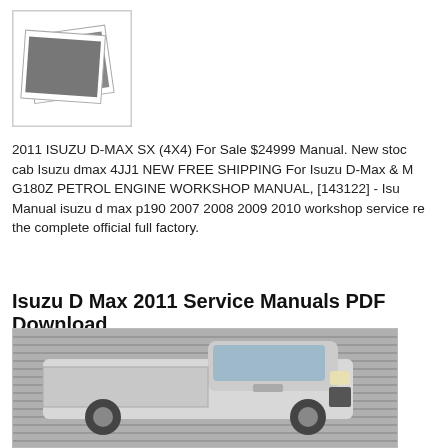[Figure (illustration): Placeholder image icon showing two overlapping photo thumbnails with a dark grey rectangle representing a photo]
2011 ISUZU D-MAX SX (4X4) For Sale $24999 Manual. New stock cab Isuzu dmax 4JJ1 NEW FREE SHIPPING For Isuzu D-Max & M G180Z PETROL ENGINE WORKSHOP MANUAL, [143122] - Isu Manual isuzu d max p190 2007 2008 2009 2010 workshop service re the complete official full factory.
Isuzu D Max 2011 Service Manuals PDF Download
[Figure (photo): Photo of a white Isuzu D-Max pickup truck with a tray/flat bed, parked in front of a corrugated metal wall/garage door]